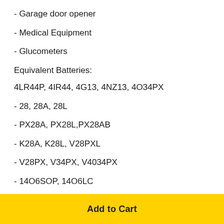- Garage door opener
- Medical Equipment
- Glucometers
Equivalent Batteries:
4LR44P, 4IR44, 4G13, 4NZ13, 4O34PX
- 28, 28A, 28L
- PX28A, PX28L,PX28AB
- K28A, K28L, V28PXL
- V28PX, V34PX, V4034PX
- 14O6SOP, 14O6LC
Add to Cart